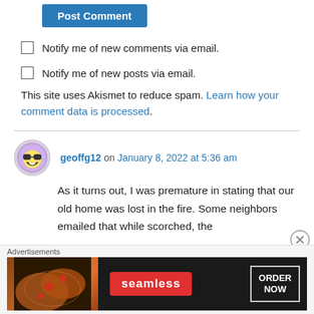[Figure (other): Blue 'Post Comment' button]
Notify me of new comments via email.
Notify me of new posts via email.
This site uses Akismet to reduce spam. Learn how your comment data is processed.
geoffg12 on January 8, 2022 at 5:36 am
As it turns out, I was premature in stating that our old home was lost in the fire. Some neighbors emailed that while scorched, the
[Figure (screenshot): Seamless food delivery advertisement with pizza image, Seamless logo in red, and ORDER NOW button]